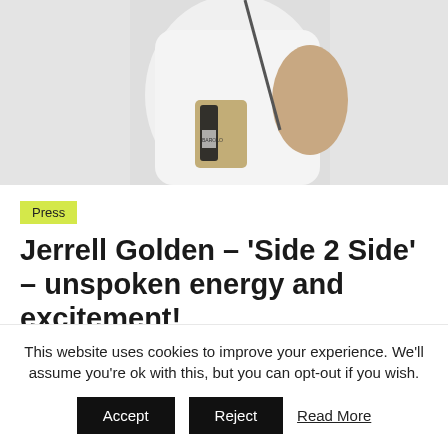[Figure (photo): Person in white outfit holding a bag with a bottle, against a light gray background]
Press
Jerrell Golden – 'Side 2 Side' – unspoken energy and excitement!
July 19, 2021   staff
This website uses cookies to improve your experience. We'll assume you're ok with this, but you can opt-out if you wish.